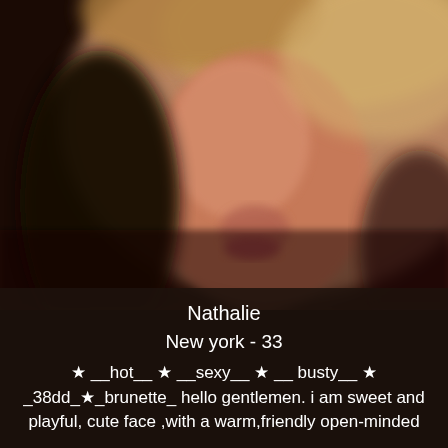[Figure (photo): Close-up blurred photo of a woman's face with brown hair, warm tones, dark background on left side]
Nathalie
New york - 33
★ __hot__ ★ __sexy__ ★ __ busty__ ★ _38dd_★_brunette_ hello gentlemen. i am sweet and playful, cute face ,with a warm,friendly open-minded